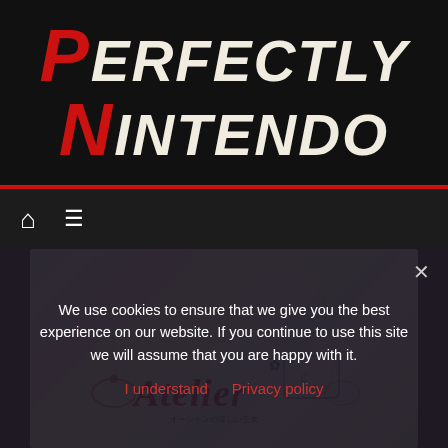[Figure (logo): Perfectly Nintendo website logo — large stylized text with red P and N initials, rest in cream/white on dark background]
[Figure (screenshot): Navigation bar with home icon and hamburger menu icon on dark background]
[Figure (illustration): Atelier game promotional image with colorful pastel background, circular glow effect, and Atelier logo text]
We use cookies to ensure that we give you the best experience on our website. If you continue to use this site we will assume that you are happy with it.
I understand   Privacy policy